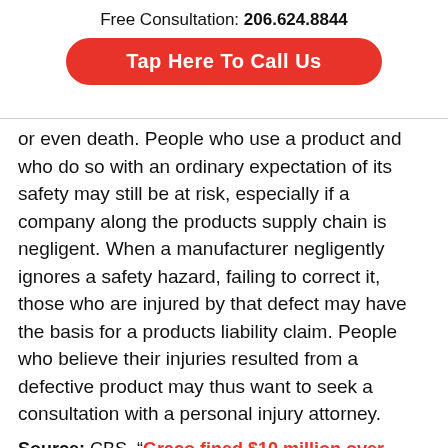Free Consultation: 206.624.8844
Tap Here To Call Us
or even death. People who use a product and who do so with an ordinary expectation of its safety may still be at risk, especially if a company along the products supply chain is negligent. When a manufacturer negligently ignores a safety hazard, failing to correct it, those who are injured by that defect may have the basis for a products liability claim. People who believe their injuries resulted from a defective product may thus want to seek a consultation with a personal injury attorney.
Source: CBS, “Graco fined $10 million over recall delay,” Mitch Linka, March 20, 2015